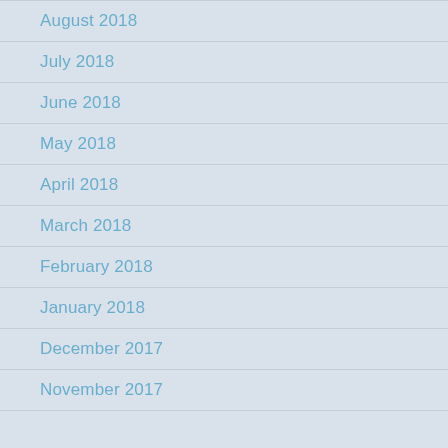August 2018
July 2018
June 2018
May 2018
April 2018
March 2018
February 2018
January 2018
December 2017
November 2017